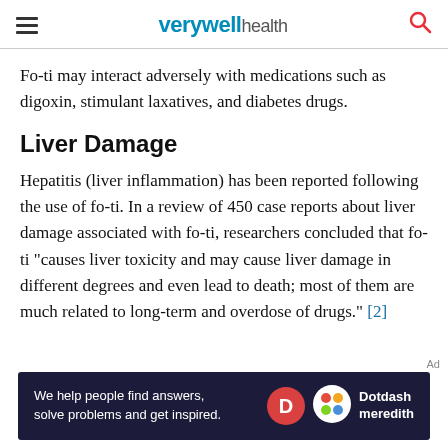verywell health
Fo-ti may interact adversely with medications such as digoxin, stimulant laxatives, and diabetes drugs.
Liver Damage
Hepatitis (liver inflammation) has been reported following the use of fo-ti. In a review of 450 case reports about liver damage associated with fo-ti, researchers concluded that fo-ti "causes liver toxicity and may cause liver damage in different degrees and even lead to death; most of them are much related to long-term and overdose of drugs." [2]
[Figure (screenshot): Dotdash Meredith advertisement banner with text: We help people find answers, solve problems and get inspired.]